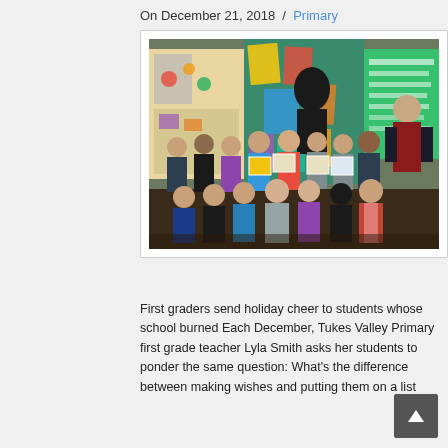On December 21, 2018 / Primary
[Figure (photo): Group photo of first grade students and their teacher in a classroom, some students holding artwork/books, colorful bulletin boards in background]
First graders send holiday cheer to students whose school burned Each December, Tukes Valley Primary first grade teacher Lyla Smith asks her students to ponder the same question: What's the difference between making wishes and putting them on a list